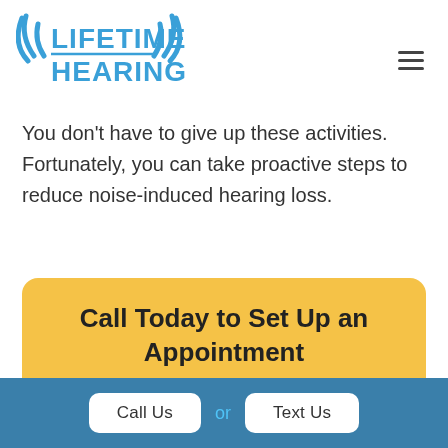[Figure (logo): Lifetime Hearing logo with sound waves and blue text]
You don't have to give up these activities. Fortunately, you can take proactive steps to reduce noise-induced hearing loss.
Call Today to Set Up an Appointment
Call Us  or  Text Us